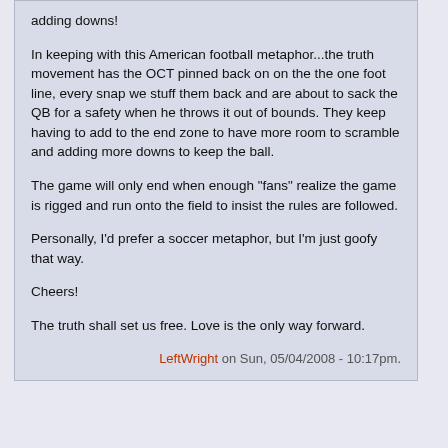adding downs!
In keeping with this American football metaphor...the truth movement has the OCT pinned back on on the the one foot line, every snap we stuff them back and are about to sack the QB for a safety when he throws it out of bounds. They keep having to add to the end zone to have more room to scramble and adding more downs to keep the ball.
The game will only end when enough "fans" realize the game is rigged and run onto the field to insist the rules are followed.
Personally, I'd prefer a soccer metaphor, but I'm just goofy that way.
Cheers!
The truth shall set us free. Love is the only way forward.
LeftWright on Sun, 05/04/2008 - 10:17pm.